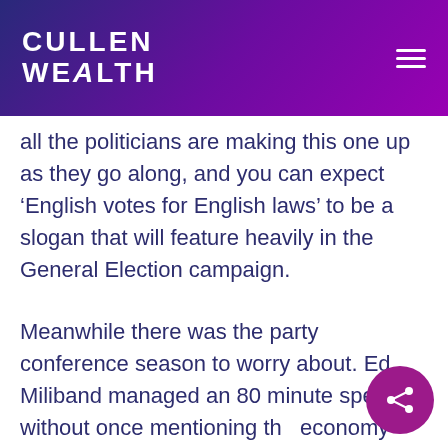CULLEN WEALTH
all the politicians are making this one up as they go along, and you can expect ‘English votes for English laws’ to be a slogan that will feature heavily in the General Election campaign.
Meanwhile there was the party conference season to worry about. Ed Miliband managed an 80 minute speech without once mentioning the economy and David Cameron arrived